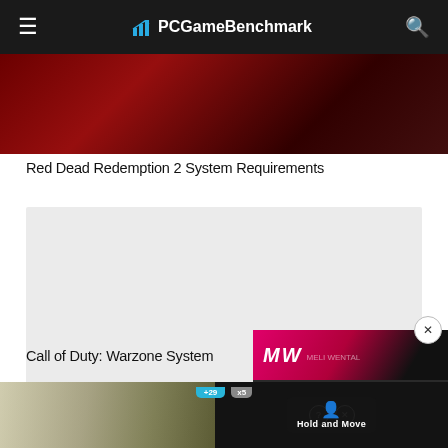PCGameBenchmark
[Figure (photo): Red Dead Redemption 2 game header image with dark red tones]
Red Dead Redemption 2 System Requirements
[Figure (photo): Grey card area for Call of Duty: Warzone content]
Call of Duty: Warzone System
[Figure (screenshot): MW (Meli Wental) video thumbnail with play button overlay and text EMBRACER GROUP BUY LOTR RIGHTS]
[Figure (screenshot): Hold and Move mobile advertisement banner at bottom of page]